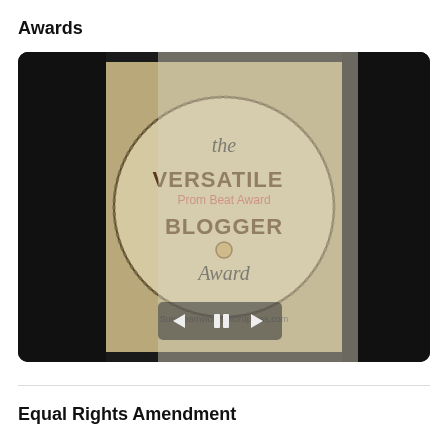Awards
[Figure (photo): A slideshow widget displaying a 'Versatile Blogger Award' badge image on a dark tablet-like frame. The badge shows a circular stamp design with text 'the VERSATILE BLOGGER Award' and overlapping text 'Prom Beat Award'. The URL 'Suedreamworks.wordpress.com' is visible at the bottom. Navigation arrows and a pause button are shown at the bottom center of the slide.]
Equal Rights Amendment